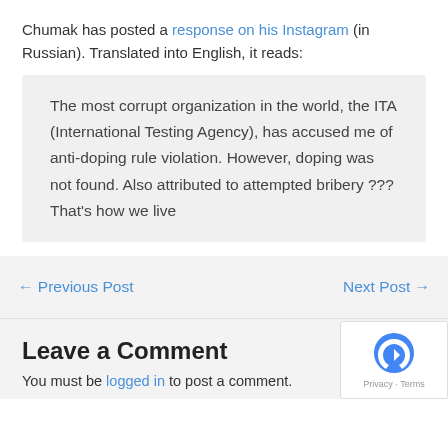Chumak has posted a response on his Instagram (in Russian). Translated into English, it reads:
The most corrupt organization in the world, the ITA (International Testing Agency), has accused me of anti-doping rule violation. However, doping was not found. Also attributed to attempted bribery ??? That's how we live
← Previous Post
Next Post →
Leave a Comment
You must be logged in to post a comment.